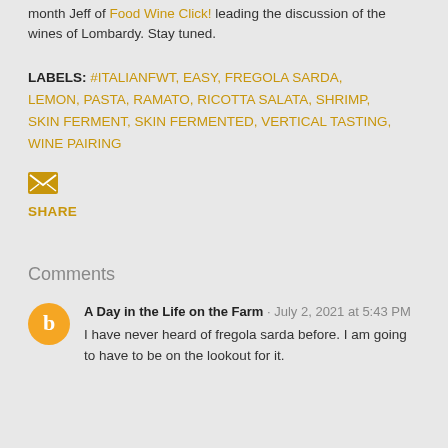month Jeff of Food Wine Click! leading the discussion of the wines of Lombardy. Stay tuned.
LABELS: #ITALIANFWT, EASY, FREGOLA SARDA, LEMON, PASTA, RAMATO, RICOTTA SALATA, SHRIMP, SKIN FERMENT, SKIN FERMENTED, VERTICAL TASTING, WINE PAIRING
[Figure (illustration): Email envelope icon in golden/amber color]
SHARE
Comments
A Day in the Life on the Farm · July 2, 2021 at 5:43 PM
I have never heard of fregola sarda before. I am going to have to be on the lookout for it.